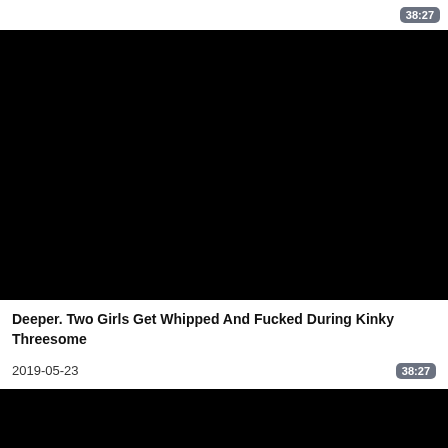38:27
[Figure (screenshot): Black video thumbnail placeholder, top]
Deeper. Two Girls Get Whipped And Fucked During Kinky Threesome
2019-05-23
38:27
[Figure (screenshot): Black video thumbnail placeholder, bottom]